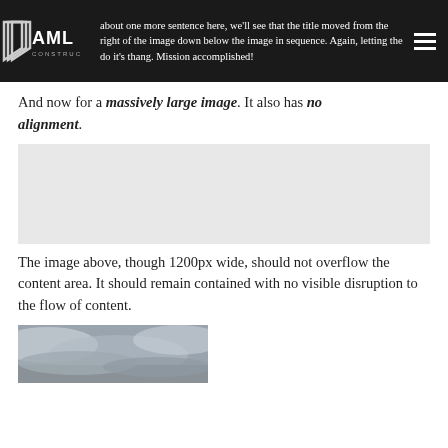about one more sentence here, we'll see that the title moved from the right of the image down below the image in sequence. Again, letting the do it's thang. Mission accomplished!
And now for a massively large image. It also has no alignment.
[Figure (photo): Large image placeholder with no alignment]
The image above, though 1200px wide, should not overflow the content area. It should remain contained with no visible disruption to the flow of content.
[Figure (photo): Sky/clouds photograph, grayscale, partially visible at bottom of page]